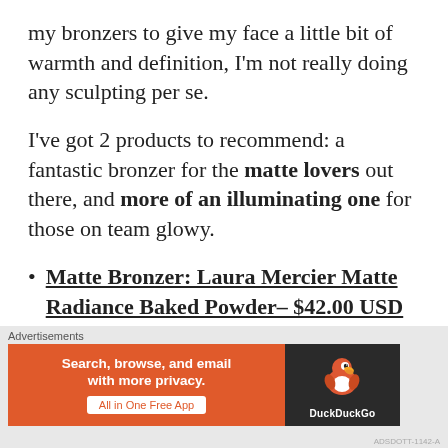my bronzers to give my face a little bit of warmth and definition, I'm not really doing any sculpting per se.
I've got 2 products to recommend: a fantastic bronzer for the matte lovers out there, and more of an illuminating one for those on team glowy.
Matte Bronzer: Laura Mercier Matte Radiance Baked Powder– $42.00 USD
If I had to live with just one bronzer forever, this would be it! It does have a
Advertisements
[Figure (other): DuckDuckGo advertisement banner: orange left panel with text 'Search, browse, and email with more privacy. All in One Free App' and dark right panel with DuckDuckGo duck logo and brand name.]